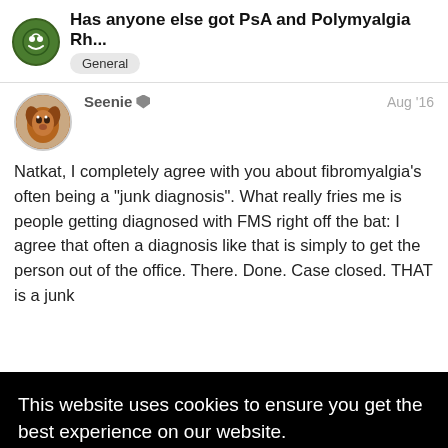Has anyone else got PsA and Polymyalgia Rh... General
Seenie  Aug '16
Natkat, I completely agree with you about fibromyalgia's often being a "junk diagnosis". What really fries me is people getting diagnosed with FMS right off the bat: I agree that often a diagnosis like that is simply to get the person out of the office. There. Done. Case closed. THAT is a junk [diagnosis...]
This website uses cookies to ensure you get the best experience on our website.
Learn more
Got it!
disagrees with that. We don't want peopl